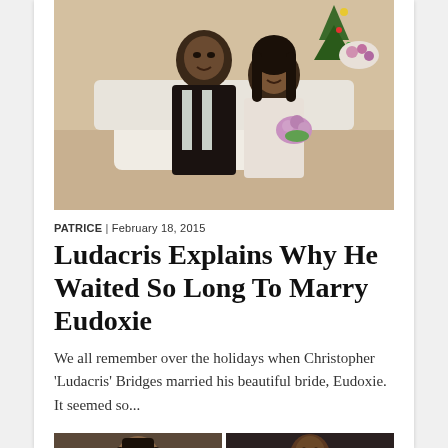[Figure (photo): A couple (Ludacris and Eudoxie) sitting together smiling at each other, with flowers and holiday decorations in the background.]
PATRICE | February 18, 2015
Ludacris Explains Why He Waited So Long To Marry Eudoxie
We all remember over the holidays when Christopher 'Ludacris' Bridges married his beautiful bride, Eudoxie. It seemed so...
[Figure (photo): Two separate photos side by side: a woman (left) and a man at what appears to be a movie premiere (right).]